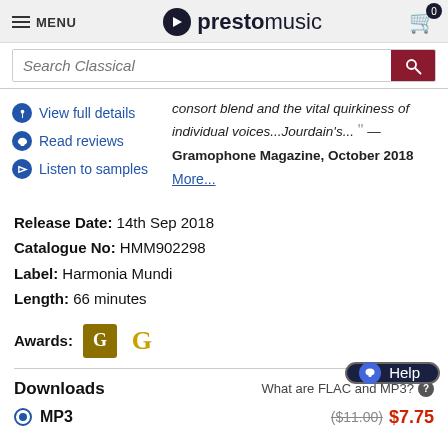MENU | prestomusic | cart 0
Search Classical
consort blend and the vital quirkiness of individual voices...Jourdain's... " — Gramophone Magazine, October 2018
More...
View full details
Read reviews
Listen to samples
Release Date: 14th Sep 2018
Catalogue No: HMM902298
Label: Harmonia Mundi
Length: 66 minutes
Awards:
Downloads
What are FLAC and MP3?
MP3   ($11.00)  $7.75